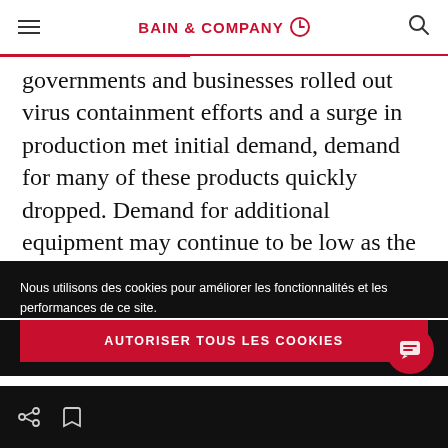BAIN & COMPANY
governments and businesses rolled out virus containment efforts and a surge in production met initial demand, demand for many of these products quickly dropped. Demand for additional equipment may continue to be low as the market soaks up potential oversupply.
Nous utilisons des cookies pour améliorer les fonctionnalités et les performances de ce site.
AUTORISER TOUS LES COOKIES